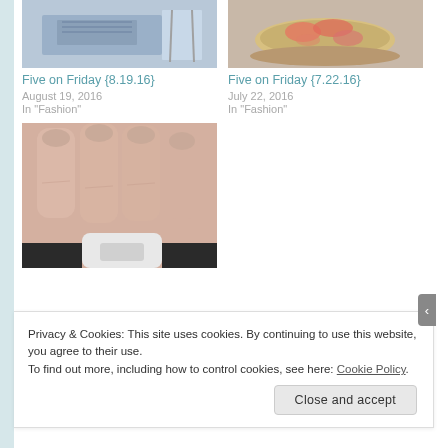[Figure (photo): Thumbnail photo of clothing/fabric on a surface - Five on Friday 8.19.16 post]
Five on Friday {8.19.16}
August 19, 2016
In "Fashion"
[Figure (photo): Thumbnail photo of food in a bowl - Five on Friday 7.22.16 post]
Five on Friday {7.22.16}
July 22, 2016
In "Fashion"
[Figure (photo): Close-up photo of a hand with painted nails holding a white object]
Privacy & Cookies: This site uses cookies. By continuing to use this website, you agree to their use.
To find out more, including how to control cookies, see here: Cookie Policy
Close and accept